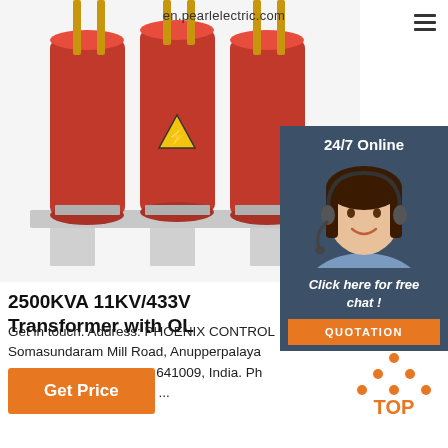en.pearlelectric.com
[Figure (photo): Photo of a 2500KVA 11KV/433V dry-type transformer with red coils and warning labels mounted on a metal base frame]
[Figure (photo): 24/7 Online customer service agent — woman wearing headset, smiling, in a dark teal panel with text '24/7 Online' and 'Click here for free chat!' and an orange QUOTATION button]
2500KVA 11KV/433V Transformer with OL
Get in touch. Address: PHOENIX CONTROL Somasundaram Mill Road, Anupperpalaya Coimbatore, Tamil Nadu 641009, India. Ph 96552 45022 +91 95855 ...
Get Price
[Figure (logo): TOP logo — orange triangle of dots above the word TOP in orange]